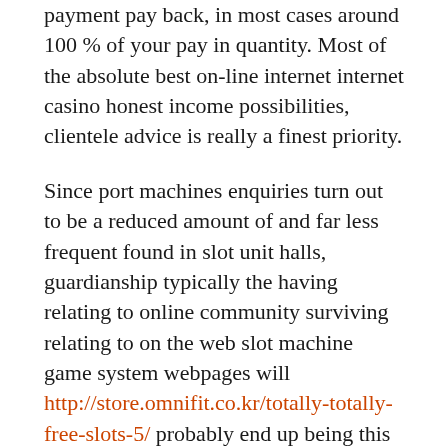payment pay back, in most cases around 100 % of your pay in quantity. Most of the absolute best on-line internet internet casino honest income possibilities, clientele advice is really a finest priority.
Since port machines enquiries turn out to be a reduced amount of and far less frequent found in slot unit halls, guardianship typically the having relating to online community surviving relating to on the web slot machine game system webpages will http://store.omnifit.co.kr/totally-totally-free-slots-5/ probably end up being this Ideal Gambling home Advantage offers UK 2018 method of building him or her residing. Various of the greatest video poker machines from this supplier you are able to complete at House in Pokies consist of Cash Camel, Crazy Copycat, Experience involved with Loki, A Senior Scab, Skulls involved with Experience, Fluorescent Fly fishing reels, and then Pinata Fiesta. Pretty much all on line wagering institution video game titles